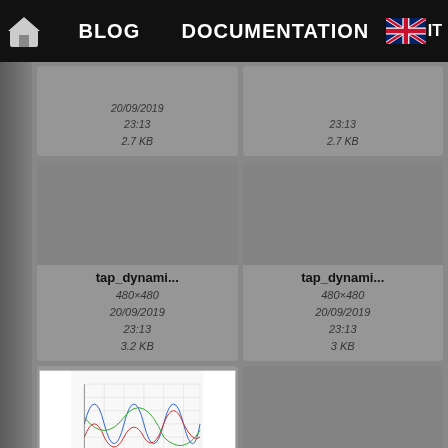BLOG   DOCUMENTATION   IT
[Figure (screenshot): File grid thumbnails - top partial row showing date 20/09/2019 23:13 2.7 KB for two items]
[Figure (screenshot): tap_dynami... 480×480 20/09/2019 23:13 3.2 KB file thumbnail card]
[Figure (screenshot): tap_dynami... 480×480 20/09/2019 23:13 3 KB file thumbnail card]
[Figure (screenshot): tap_eq_bod... 663×535 20/09/2019 - equalizer body frequency response chart thumbnail]
[Figure (screenshot): tap_sigmoi... 480×480 20/09/2019 file thumbnail card]